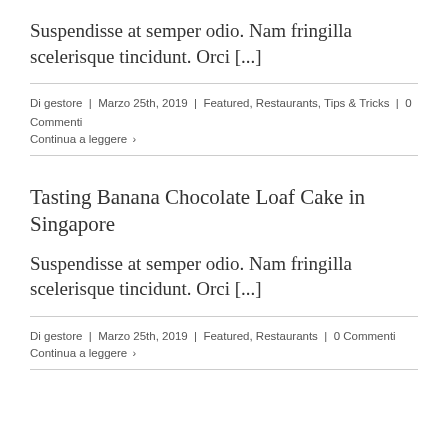Suspendisse at semper odio. Nam fringilla scelerisque tincidunt. Orci [...]
Di gestore | Marzo 25th, 2019 | Featured, Restaurants, Tips & Tricks | 0 Commenti
Continua a leggere ›
Tasting Banana Chocolate Loaf Cake in Singapore
Suspendisse at semper odio. Nam fringilla scelerisque tincidunt. Orci [...]
Di gestore | Marzo 25th, 2019 | Featured, Restaurants | 0 Commenti
Continua a leggere ›